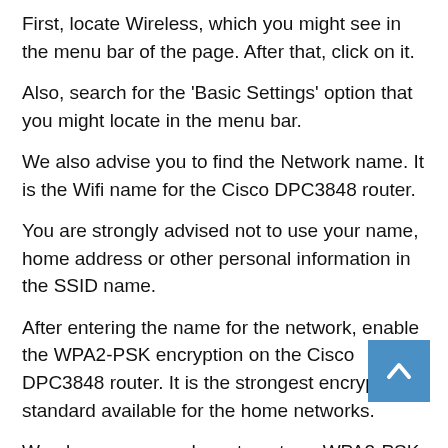First, locate Wireless, which you might see in the menu bar of the page. After that, click on it.
Also, search for the 'Basic Settings' option that you might locate in the menu bar.
We also advise you to find the Network name. It is the Wifi name for the Cisco DPC3848 router.
You are strongly advised not to use your name, home address or other personal information in the SSID name.
After entering the name for the network, enable the WPA2-PSK encryption on the Cisco DPC3848 router. It is the strongest encryption standard available for the home networks.
We also recommend you to enter a WPA2-PSK password. This is the password that you should use while connecting to the Home Wifi.
Few More Suggestions
Utilize the Mac address filtering for Cisco DPC3848. It is